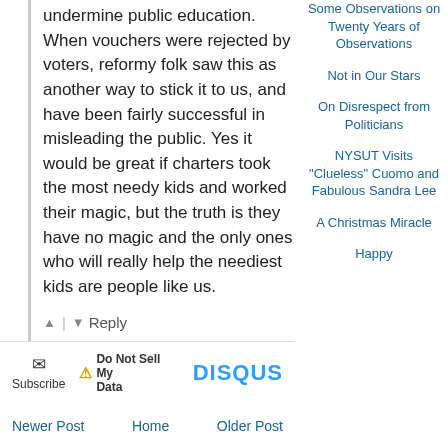undermine public education. When vouchers were rejected by voters, reformy folk saw this as another way to stick it to us, and have been fairly successful in misleading the public. Yes it would be great if charters took the most needy kids and worked their magic, but the truth is they have no magic and the only ones who will really help the neediest kids are people like us.
↑ | ↓  Reply
✉ Subscribe  ⚠ Do Not Sell My Data  DISQUS
Newer Post
Home
Older Post
Subscribe to: Post Comments (Atom)
Some Observations on Twenty Years of Observations
Not in Our Stars
On Disrespect from Politicians
NYSUT Visits "Clueless" Cuomo and Fabulous Sandra Lee
A Christmas Miracle
Happy